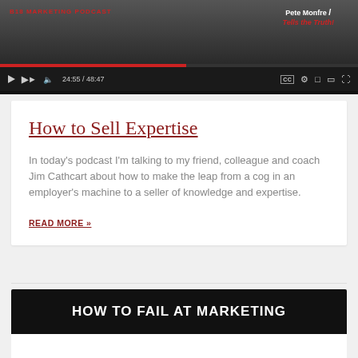[Figure (screenshot): Video player showing a podcast episode with red progress bar at 24:55 / 48:47. Shows 'Pete Monfre Tells the Truth!' branding in top right, '818 MARKETING PODCAST' label in red on left, playback controls at bottom.]
How to Sell Expertise
In today’s podcast I’m talking to my friend, colleague and coach Jim Cathcart about how to make the leap from a cog in an employer’s machine to a seller of knowledge and expertise.
READ MORE »
HOW TO FAIL AT MARKETING